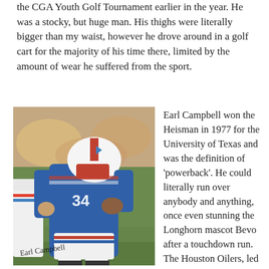the CGA Youth Golf Tournament earlier in the year. He was a stocky, but huge man. His thighs were literally bigger than my waist, however he drove around in a golf cart for the majority of his time there, limited by the amount of wear he suffered from the sport.
[Figure (photo): Autographed photo of Earl Campbell (#34) in a Houston Oilers uniform running with the ball. The photo is signed 'Earl Campbell' in cursive at the bottom left.]
Earl Campbell won the Heisman in 1977 for the University of Texas and was the definition of 'powerback'. He could literally run over anybody and anything, once even stunning the Longhorn mascot Bevo after a touchdown run. The Houston Oilers, led by Bum Phillips traded to get the #1